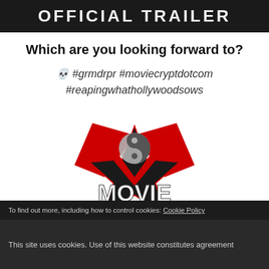[Figure (screenshot): Dark banner with 'OFFICIAL TRAILER' text in large white uppercase letters]
Which are you looking forward to?
💀 #grmdrpr #moviecryptdotcom #reapingwhathollywoodsows
[Figure (logo): MovieCrypt.com logo with red star/bat wings, silver yin-yang symbol, and bold white text reading MOVIE CRYPT .com with skull]
To find out more, including how to control cookies: Cookie Policy
This site uses cookies. Use of this website constitutes agreement